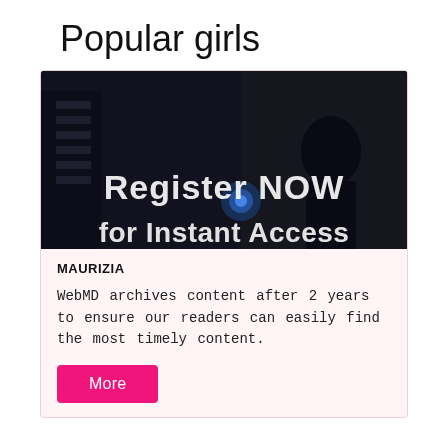Popular girls
[Figure (screenshot): Dark video thumbnail with 'Register NOW' and 'for Instant Access' overlay text, appears to be a video player screenshot with watermark text at top]
MAURIZIA
WebMD archives content after 2 years to ensure our readers can easily find the most timely content.
More